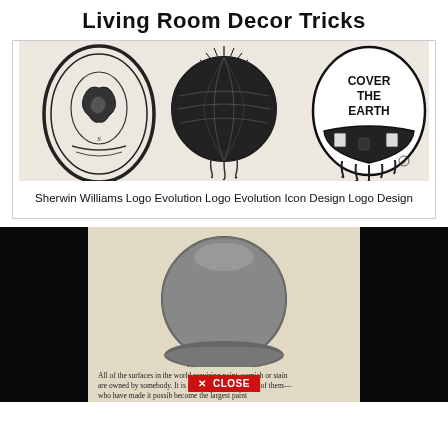Living Room Decor Tricks
[Figure (illustration): Three vintage Sherwin Williams logo illustrations in black and white: an oval seal logo, a globe with dripping paint, and the 'Cover the Earth' globe logo with paint dripping]
Sherwin Williams Logo Evolution Logo Evolution Icon Design Logo Design
[Figure (photo): Black and white photo of a globe with paint dripping over it, surrounded by dark borders. Below is vintage advertising text: 'All of the surfaces in the world requiring paint, varnish or stain are owned by somebody. It is these owners—millions of them—who have made it possible to become the largest paint...' with a red CLOSE button overlay.]